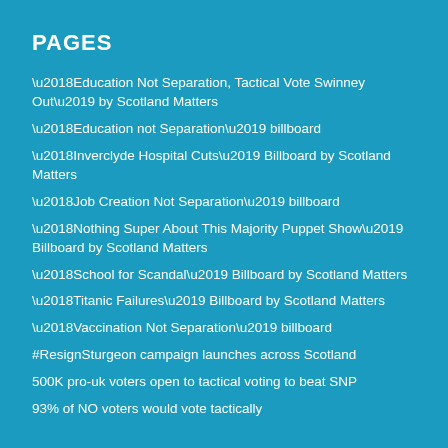PAGES
‘Education Not Separation, Tactical Vote Swinney Out’ by Scotland Matters
‘Education not Separation’ billboard
‘Inverclyde Hospital Cuts’ Billboard by Scotland Matters
‘Job Creation Not Separation’ billboard
‘Nothing Super About This Majority Puppet Show’ Billboard by Scotland Matters
‘School for Scandal’ Billboard by Scotland Matters
‘Titanic Failures’ Billboard by Scotland Matters
‘Vaccination Not Separation’ billboard
#ResignSturgeon campaign launches across Scotland
500K pro-uk voters open to tactical voting to beat SNP
93% of NO voters would vote tactically